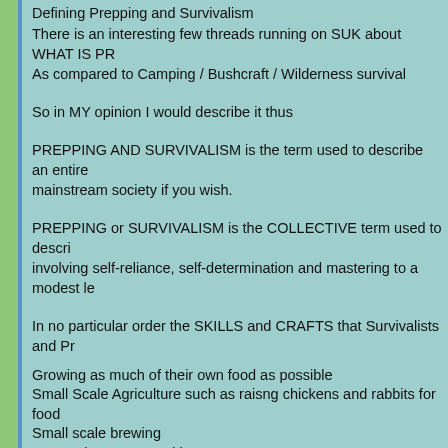Defining Prepping and Survivalism
There is an interesting few threads running on SUK about WHAT IS PR
As compared to Camping / Bushcraft / Wilderness survival
So in MY opinion I would describe it thus
PREPPING AND SURVIVALISM is the term used to describe an entire mainstream society if you wish.
PREPPING or SURVIVALISM is the COLLECTIVE term used to descri involving self-reliance, self-determination and mastering to a modest le
In no particular order the SKILLS and CRAFTS that Survivalists and Pr
Growing as much of their own food as possible
Small Scale Agriculture such as raisng chickens and rabbits for food
Small scale brewing
Jam and preserve making
Permaculture skills
Food preservation
Home Security risk assessing and adaptations
Self Defence skills
Researching and archiving skills
Medical skills and Homeopathic skills
Designing, building, operating and maintaining their own off –grid powe